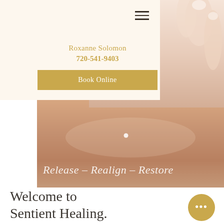Roxanne Solomon
720-541-9403
Book Online
[Figure (photo): Close-up photo of a human hand/fingers with skin background, soft warm tones]
[Figure (photo): Large cropped body/skin photo background for hero area with warm neutral tan tones]
Release – Realign – Restore
Welcome to Sentient Healing.